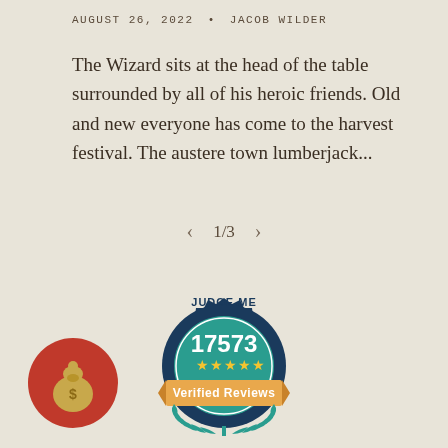AUGUST 26, 2022 • JACOB WILDER
The Wizard sits at the head of the table surrounded by all of his heroic friends. Old and new everyone has come to the harvest festival. The austere town lumberjack...
1/3
[Figure (logo): Judge.me badge showing 17573 verified reviews with 5 stars and laurel wreath decoration]
[Figure (illustration): Red circle icon with a money bag illustration]